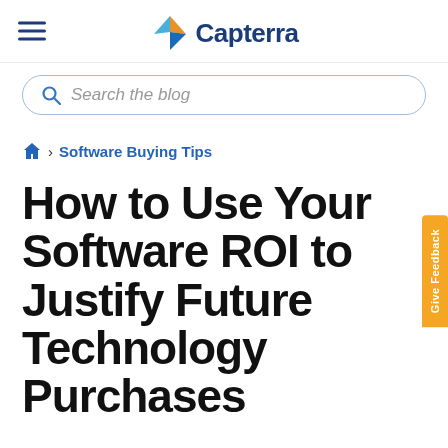Capterra
Search the blog
Home > Software Buying Tips
How to Use Your Software ROI to Justify Future Technology Purchases